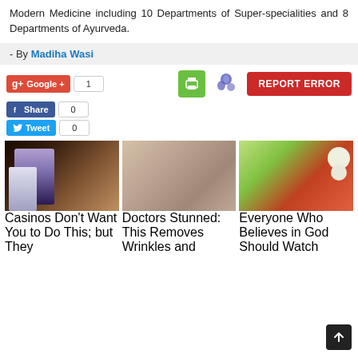Modern Medicine including 10 Departments of Super-specialities and 8 Departments of Ayurveda.
- By Madiha Wasi
[Figure (screenshot): Social sharing buttons: Google+1 with count 1, Facebook Share with count 0, Twitter Tweet with count 0, print icon, MSN icon, REPORT ERROR red button]
[Figure (logo): Sponsored content logo (circular green and black arc)]
[Figure (photo): Three article thumbnails: casino woman, wrinkled face closeup, rambutan fruit in hand]
Casinos Don't Want You to Do This; but They
Doctors Stunned: This Removes Wrinkles and
Everyone Who Believes in God Should Watch
[Figure (other): Back to top arrow button in bottom right corner]